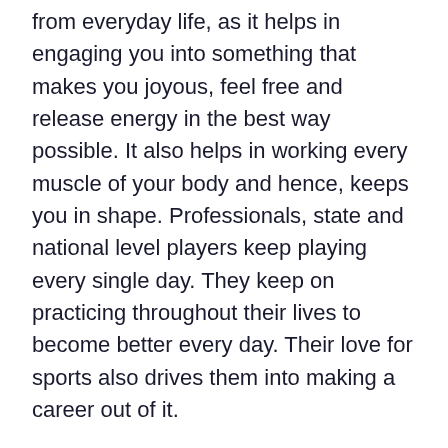from everyday life, as it helps in engaging you into something that makes you joyous, feel free and release energy in the best way possible. It also helps in working every muscle of your body and hence, keeps you in shape. Professionals, state and national level players keep playing every single day. They keep on practicing throughout their lives to become better every day. Their love for sports also drives them into making a career out of it.
The College of Hospitality, Retail and Sport Management at the University of South Carolina has been crowned the best university in the world for Sport Science and Management in 2019, according to CEOWORLD magazine, while School of Sport, Exercise and Health Sciences at Loughborough University and School of Exercise and Nutrition Sciences at Deakin University placed 2nd and 3rd, respectively.
The 2019 rankings placed Norwegian School of Sport